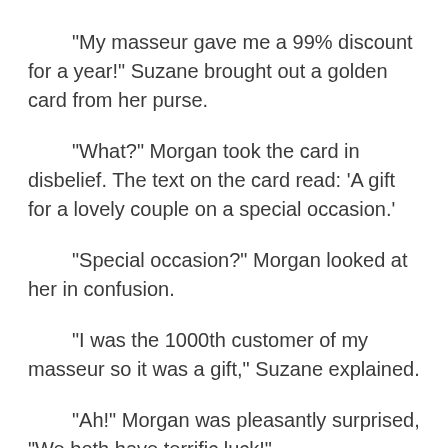"My masseur gave me a 99% discount for a year!" Suzane brought out a golden card from her purse.
"What?" Morgan took the card in disbelief. The text on the card read: 'A gift for a lovely couple on a special occasion.'
"Special occasion?" Morgan looked at her in confusion.
"I was the 1000th customer of my masseur so it was a gift," Suzane explained.
"Ah!" Morgan was pleasantly surprised, "We both have terrific luck!"